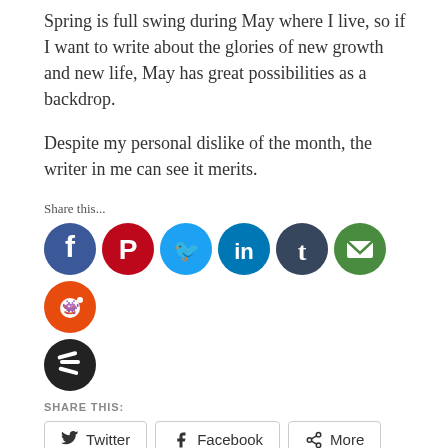Spring is full swing during May where I live, so if I want to write about the glories of new growth and new life, May has great possibilities as a backdrop.
Despite my personal dislike of the month, the writer in me can see it merits.
Share this...
[Figure (infographic): Row of social media share icon circles: Facebook (blue), Pinterest (red), Twitter (light blue), LinkedIn (teal), Tumblr (dark blue), Email (green), Reddit (orange-red), and Buffer (dark/black) below.]
SHARE THIS:
[Figure (infographic): Share buttons row: Twitter button with bird icon, Facebook button with f icon, More button with share icon.]
LIKE THIS:
[Figure (infographic): Like button with star icon, two blogger avatar thumbnails beside it, and '2 bloggers like this.' text below.]